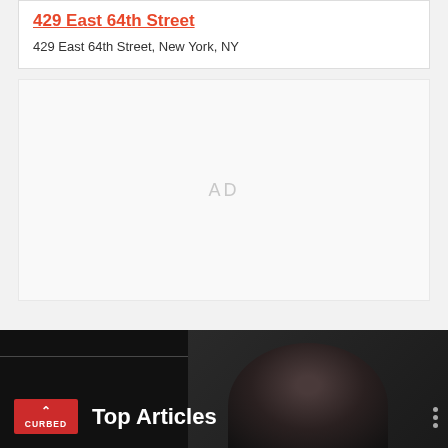429 East 64th Street
429 East 64th Street, New York, NY
[Figure (other): Advertisement placeholder area with 'AD' label in light gray]
[Figure (other): Dark banner with Curbed logo and 'Top Articles' heading, with a photo of a person in background on the right side]